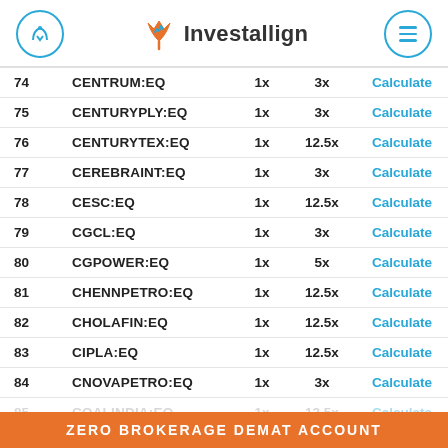Investallign
| # | Symbol | Delivery | Intraday | Action |
| --- | --- | --- | --- | --- |
| 74 | CENTRUM:EQ | 1x | 3x | Calculate |
| 75 | CENTURYPLY:EQ | 1x | 3x | Calculate |
| 76 | CENTURYTEX:EQ | 1x | 12.5x | Calculate |
| 77 | CEREBRAINT:EQ | 1x | 3x | Calculate |
| 78 | CESC:EQ | 1x | 12.5x | Calculate |
| 79 | CGCL:EQ | 1x | 3x | Calculate |
| 80 | CGPOWER:EQ | 1x | 5x | Calculate |
| 81 | CHENNPETRO:EQ | 1x | 12.5x | Calculate |
| 82 | CHOLAFIN:EQ | 1x | 12.5x | Calculate |
| 83 | CIPLA:EQ | 1x | 12.5x | Calculate |
| 84 | CNOVAPETRO:EQ | 1x | 3x | Calculate |
| 85 | COALINDIA:EQ | 1x | 12.5x | Calculate |
ZERO BROKERAGE DEMAT ACCOUNT